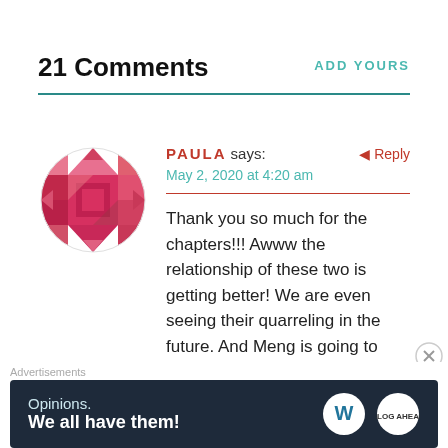21 Comments
ADD YOURS
PAULA says:
May 2, 2020 at 4:20 am
Reply
Thank you so much for the chapters!!! Awww the relationship of these two is getting better! We are even seeing their quarreling in the future. And Meng is going to lose everytime hahahah!
[Figure (illustration): Circular avatar with pink/red diamond/gem pattern mosaic design]
Advertisements
[Figure (screenshot): Advertisement banner with dark navy background reading 'Opinions. We all have them!' with WordPress and another logo on the right]